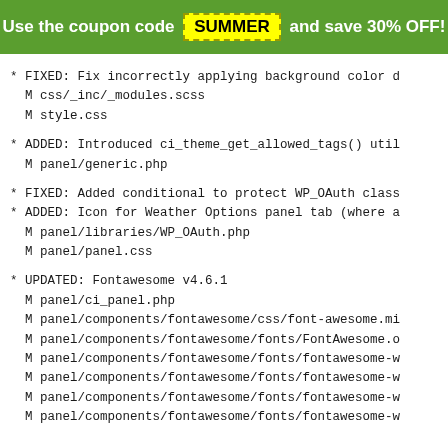Use the coupon code SUMMER and save 30% OFF!
* FIXED: Fix incorrectly applying background color d
    M css/_inc/_modules.scss
    M style.css
* ADDED: Introduced ci_theme_get_allowed_tags() util
    M panel/generic.php
* FIXED: Added conditional to protect WP_OAuth class
* ADDED: Icon for Weather Options panel tab (where a
    M panel/libraries/WP_OAuth.php
    M panel/panel.css
* UPDATED: Fontawesome v4.6.1
    M panel/ci_panel.php
    M panel/components/fontawesome/css/font-awesome.mi
    M panel/components/fontawesome/fonts/FontAwesome.o
    M panel/components/fontawesome/fonts/fontawesome-w
    M panel/components/fontawesome/fonts/fontawesome-w
    M panel/components/fontawesome/fonts/fontawesome-w
    M panel/components/fontawesome/fonts/fontawesome-w